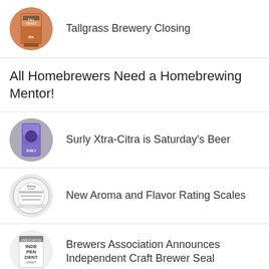Tallgrass Brewery Closing
All Homebrewers Need a Homebrewing Mentor!
Surly Xtra-Citra is Saturday's Beer
New Aroma and Flavor Rating Scales
Brewers Association Announces Independent Craft Brewer Seal
Are Citra and Mosaic Beer's Peanut Butter and Jelly?